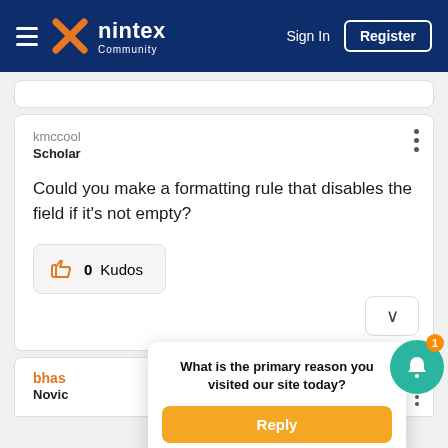nintex Community — Sign In | Register
kmccool
Scholar
Could you make a formatting rule that disables the field if it's not empty?
0 Kudos
What is the primary reason you visited our site today?
Reply
bhas
Novic